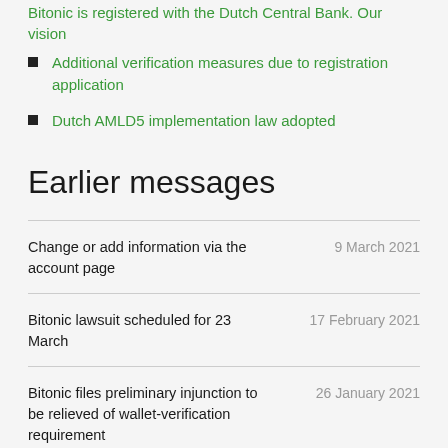Bitonic is registered with the Dutch Central Bank. Our vision
Additional verification measures due to registration application
Dutch AMLD5 implementation law adopted
Earlier messages
Change or add information via the account page	9 March 2021
Bitonic lawsuit scheduled for 23 March	17 February 2021
Bitonic files preliminary injunction to be relieved of wallet-verification requirement	26 January 2021